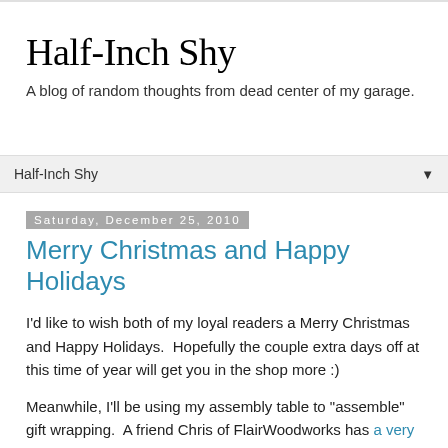Half-Inch Shy
A blog of random thoughts from dead center of my garage.
Half-Inch Shy ▼
Saturday, December 25, 2010
Merry Christmas and Happy Holidays
I'd like to wish both of my loyal readers a Merry Christmas and Happy Holidays.  Hopefully the couple extra days off at this time of year will get you in the shop more :)
Meanwhile, I'll be using my assembly table to "assemble" gift wrapping.  A friend Chris of FlairWoodworks has a very creative post yesterday on how woodworkers should gift